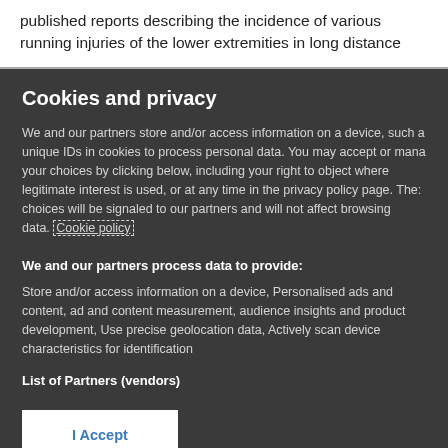published reports describing the incidence of various running injuries of the lower extremities in long distance
Cookies and privacy
We and our partners store and/or access information on a device, such as unique IDs in cookies to process personal data. You may accept or manage your choices by clicking below, including your right to object where legitimate interest is used, or at any time in the privacy policy page. These choices will be signaled to our partners and will not affect browsing data. Cookie policy
We and our partners process data to provide:
Store and/or access information on a device, Personalised ads and content, ad and content measurement, audience insights and product development, Use precise geolocation data, Actively scan device characteristics for identification
List of Partners (vendors)
I Accept